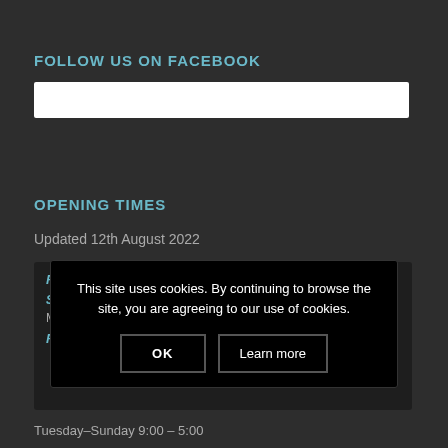FOLLOW US ON FACEBOOK
[Figure (other): White rectangular Facebook embed/widget box]
OPENING TIMES
Updated 12th August 2022
Fishmongers, Seafood Deli & The Hatch
Summer Openings
Monday–Sunday – 9:00 – 5:30pm
From September
Tuesday–Sunday 9:00 – 5:00
This site uses cookies. By continuing to browse the site, you are agreeing to our use of cookies.
OK
Learn more